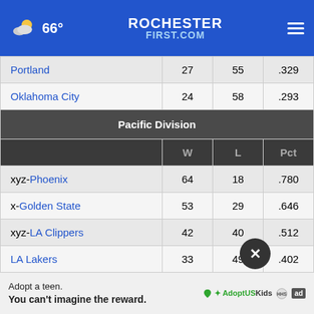ROCHESTER FIRST.COM — 66°
|  | W | L | Pct |
| --- | --- | --- | --- |
| Portland | 27 | 55 | .329 |
| Oklahoma City | 24 | 58 | .293 |
| Pacific Division — W / L / Pct |  |  |  |
| xyz-Phoenix | 64 | 18 | .780 |
| x-Golden State | 53 | 29 | .646 |
| xyz-LA Clippers | 42 | 40 | .512 |
| LA Lakers | 33 | 49 | .402 |
| Sacramento | — | — | — |
Adopt a teen. You can't imagine the reward. — AdoptUSKids